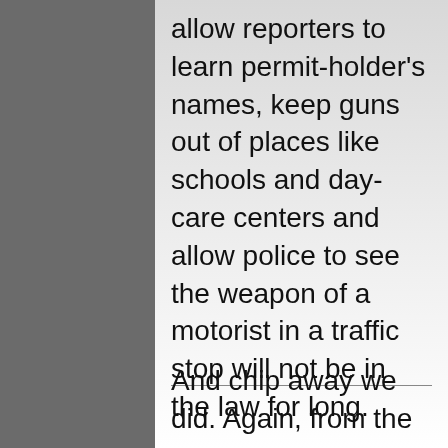allow reporters to learn permit-holder's names, keep guns out of places like schools and day-care centers and allow police to see the weapon of a motorist in a traffic stop will not be in the law for long.
"They're straight up about it. Gun owners wanted to make any compromise necessary to get this bill into law and then they'll go back and chip away at it," Fingerhut said after the Senate vote.
And chip away we did. Again, from the